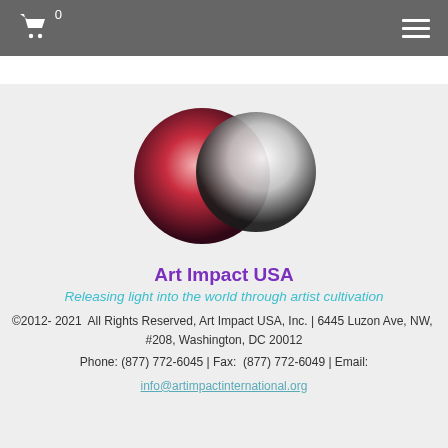0 (cart icon) ≡ (hamburger menu)
[Figure (logo): Art Impact USA logo: two overlapping circles — left circle with red-to-dark gradient, right circle with white-to-dark gradient, on a light gray background]
Art Impact USA
Releasing light into the world through artist cultivation
©2012- 2021  All Rights Reserved, Art Impact USA, Inc. | 6445 Luzon Ave, NW,  #208, Washington, DC 20012
Phone: (877) 772-6045 | Fax:  (877) 772-6049 | Email:
info@artimpactinternational.org